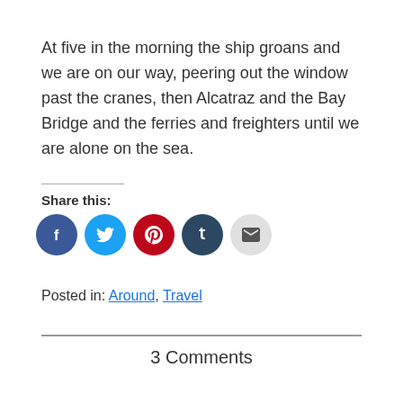At five in the morning the ship groans and we are on our way, peering out the window past the cranes, then Alcatraz and the Bay Bridge and the ferries and freighters until we are alone on the sea.
Share this:
[Figure (infographic): Social share buttons: Facebook (blue circle), Twitter (light blue circle), Pinterest (red circle), Tumblr (dark blue circle), Email (light grey circle)]
Posted in: Around, Travel
3 Comments